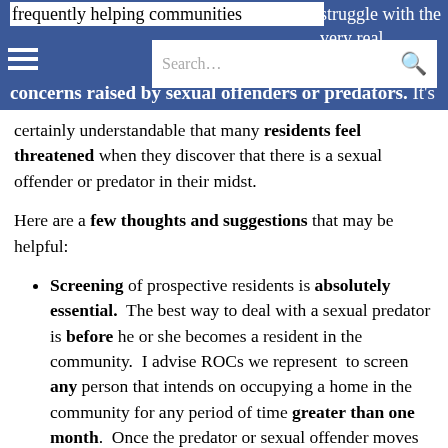frequently helping communities struggle with the very real concerns raised by sexual offenders or predators. It's
certainly understandable that many residents feel threatened when they discover that there is a sexual offender or predator in their midst.
Here are a few thoughts and suggestions that may be helpful:
Screening of prospective residents is absolutely essential. The best way to deal with a sexual predator is before he or she becomes a resident in the community. I advise ROCs we represent to screen any person that intends on occupying a home in the community for any period of time greater than one month. Once the predator or sexual offender moves into the community, the amount of time, effort, and
into the community, the amount of time, effort, and